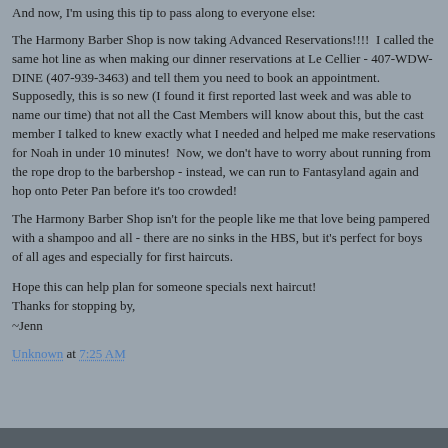And now, I'm using this tip to pass along to everyone else:
The Harmony Barber Shop is now taking Advanced Reservations!!!!  I called the same hot line as when making our dinner reservations at Le Cellier - 407-WDW-DINE (407-939-3463) and tell them you need to book an appointment.  Supposedly, this is so new (I found it first reported last week and was able to name our time) that not all the Cast Members will know about this, but the cast member I talked to knew exactly what I needed and helped me make reservations for Noah in under 10 minutes!  Now, we don't have to worry about running from the rope drop to the barbershop - instead, we can run to Fantasyland again and hop onto Peter Pan before it's too crowded!
The Harmony Barber Shop isn't for the people like me that love being pampered with a shampoo and all - there are no sinks in the HBS, but it's perfect for boys of all ages and especially for first haircuts.
Hope this can help plan for someone specials next haircut!
Thanks for stopping by,
~Jenn
Unknown at 7:25 AM